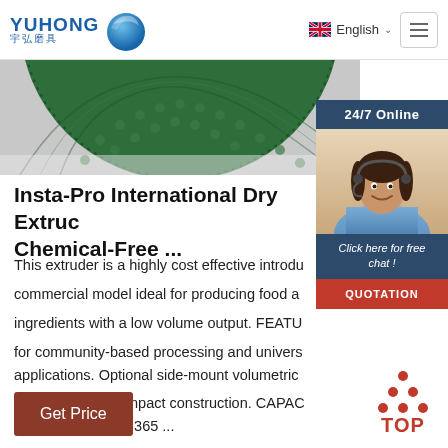YUHONG 宇弘磨具 | English | Navigation
[Figure (photo): Green abrasive grinding disc, partially visible, close-up top view on white background]
[Figure (photo): 24/7 Online chat widget with female customer service agent wearing headset, blue background, with 'Click here for free chat!' text and QUOTATION button]
Insta-Pro International Dry Extruder Chemical-Free ...
This extruder is a highly cost effective introductory commercial model ideal for producing food and ingredients with a low volume output. FEATURES: for community-based processing and universal applications. Optional side-mount volumetric agitator. Rigid, compact construction. CAPACITY: 800 lbs./hr. (272 – 365 ...
[Figure (other): Get Price brown/red button]
[Figure (other): TOP scroll-to-top button with red dots arranged in triangle and red TOP text]